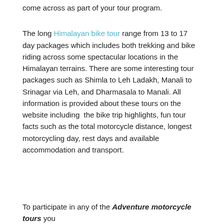come across as part of your tour program.
The long Himalayan bike tour range from 13 to 17 day packages which includes both trekking and bike riding across some spectacular locations in the Himalayan terrains. There are some interesting tour packages such as Shimla to Leh Ladakh, Manali to Srinagar via Leh, and Dharmasala to Manali. All information is provided about these tours on the website including  the bike trip highlights, fun tour facts such as the total motorcycle distance, longest motorcycling day, rest days and available accommodation and transport.
To participate in any of the Adventure motorcycle tours you